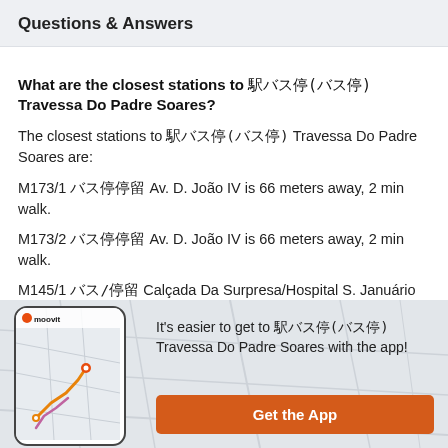Questions & Answers
What are the closest stations to 駅バス停(バス停) Travessa Do Padre Soares?
The closest stations to 駅バス停(バス停) Travessa Do Padre Soares are:
M173/1 バス停停留 Av. D. João IV is 66 meters away, 2 min walk.
M173/2 バス停停留 Av. D. João IV is 66 meters away, 2 min walk.
M145/1 バス/停留 Calçada Da Surpresa/Hospital S. Januário is 151 meters away, 2 min walk.
D. Campo / Visky Plaza is 211 meters...
[Figure (screenshot): Moovit app screenshot showing a map with route lines in orange and pink/purple]
It's easier to get to 駅バス停(バス停) Travessa Do Padre Soares with the app!
Get the App